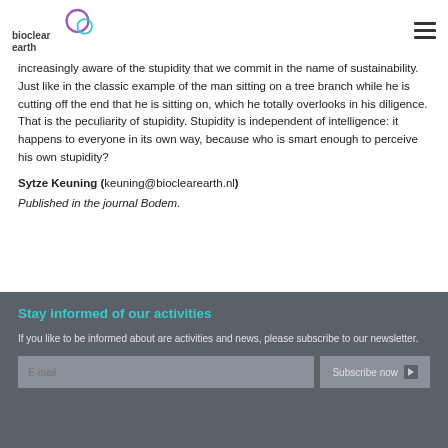bioclear earth
increasingly aware of the stupidity that we commit in the name of sustainability. Just like in the classic example of the man sitting on a tree branch while he is cutting off the end that he is sitting on, which he totally overlooks in his diligence. That is the peculiarity of stupidity. Stupidity is independent of intelligence: it happens to everyone in its own way, because who is smart enough to perceive his own stupidity?
Sytze Keuning (keuning@bioclearearth.nl)
Published in the journal Bodem.
Stay informed of our activities
If you like to be informed about are activities and news, please subscribe to our newsletter.